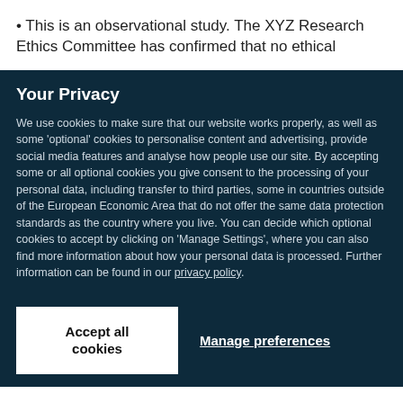This is an observational study. The XYZ Research Ethics Committee has confirmed that no ethical
Your Privacy
We use cookies to make sure that our website works properly, as well as some 'optional' cookies to personalise content and advertising, provide social media features and analyse how people use our site. By accepting some or all optional cookies you give consent to the processing of your personal data, including transfer to third parties, some in countries outside of the European Economic Area that do not offer the same data protection standards as the country where you live. You can decide which optional cookies to accept by clicking on 'Manage Settings', where you can also find more information about how your personal data is processed. Further information can be found in our privacy policy.
Accept all cookies
Manage preferences